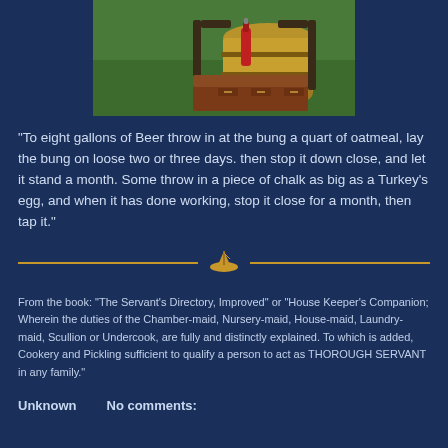[Figure (photo): Outdoor photo showing a wooden barrel, a red bottle, and a brown wooden chest/box on a table, with green grass in the background.]
"To eight gallons of Beer throw in at the bung a quart of oatmeal, lay the bung on loose two or three days. then stop it down close, and let it stand a month. Some throw in a piece of chalk as big as a Turkey's egg, and when it has done working, stop it close for a month, then tap it."
[Figure (illustration): Decorative divider with two horizontal gold lines and a small gold ship emblem in the center.]
From the book: "The Servant's Directory, Improved" or "House Keeper's Companion; Wherein the duties of the Chamber-maid, Nursery-maid, House-maid, Laundry-maid, Scullion or Undercook, are fully and distinctly explained. To which is added, Cookery and Pickling sufficient to qualify a person to act as THOROUGH SERVANT in any family."
Unknown    No comments: